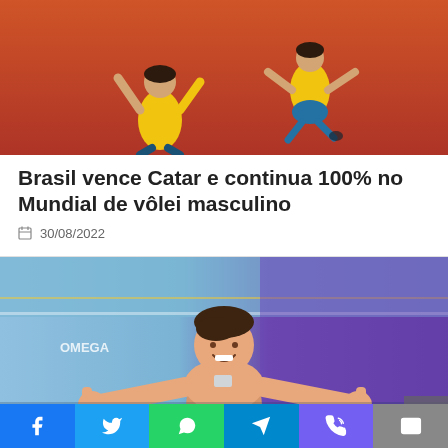[Figure (photo): Brazilian volleyball players in yellow uniforms jumping/celebrating against an orange-red background]
Brasil vence Catar e continua 100% no Mundial de vôlei masculino
30/08/2022
[Figure (photo): Young Brazilian male swimmer smiling and giving thumbs up, poolside at an aquatics arena with Omega branding]
Revelação brasileira conquista ouro no Mundial Júnior de natação
Social share bar: Facebook, Twitter, WhatsApp, Telegram, Phone/Viber, Email